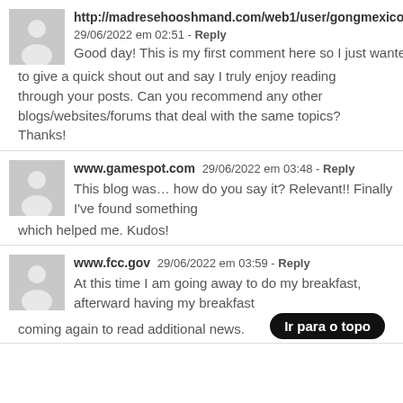http://madresehooshmand.com/web1/user/gongmexico7/ 29/06/2022 em 02:51 - Reply
Good day! This is my first comment here so I just wanted to give a quick shout out and say I truly enjoy reading through your posts. Can you recommend any other blogs/websites/forums that deal with the same topics? Thanks!
www.gamespot.com 29/06/2022 em 03:48 - Reply
This blog was… how do you say it? Relevant!! Finally I've found something which helped me. Kudos!
www.fcc.gov 29/06/2022 em 03:59 - Reply
At this time I am going away to do my breakfast, afterward having my breakfast coming again to read additional news.